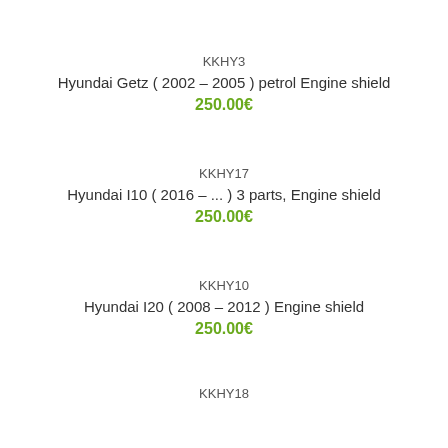KKHY3
Hyundai Getz ( 2002 – 2005 ) petrol Engine shield
250.00€
KKHY17
Hyundai I10 ( 2016 – ... ) 3 parts, Engine shield
250.00€
KKHY10
Hyundai I20 ( 2008 – 2012 ) Engine shield
250.00€
KKHY18